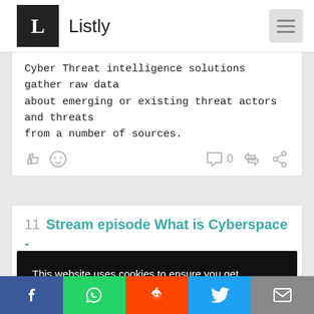Listly
Cyber Threat intelligence solutions gather raw data about emerging or existing threat actors and threats from a number of sources.
11  Stream episode What is Cyberspace - driveittech by Driveit solution podcast | Listen online for free on SoundCloud
This website uses cookies to ensure you get the best experience on our website.
Learn more
Got it!
Social share bar: Facebook, WhatsApp, Reddit, Twitter, Email